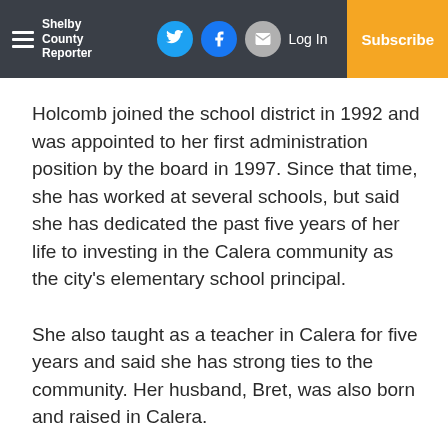Shelby County Reporter — Log In — Subscribe
Holcomb joined the school district in 1992 and was appointed to her first administration position by the board in 1997. Since that time, she has worked at several schools, but said she has dedicated the past five years of her life to investing in the Calera community as the city’s elementary school principal.
She also taught as a teacher in Calera for five years and said she has strong ties to the community. Her husband, Bret, was also born and raised in Calera.